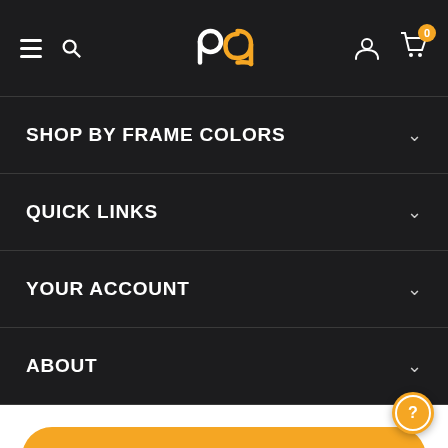[Figure (screenshot): Mobile app navigation header with hamburger menu, search icon, PG logo in orange and white, user icon, and shopping cart icon with badge showing 0]
SHOP BY FRAME COLORS
QUICK LINKS
YOUR ACCOUNT
ABOUT
Order Glasses
Save
Try on